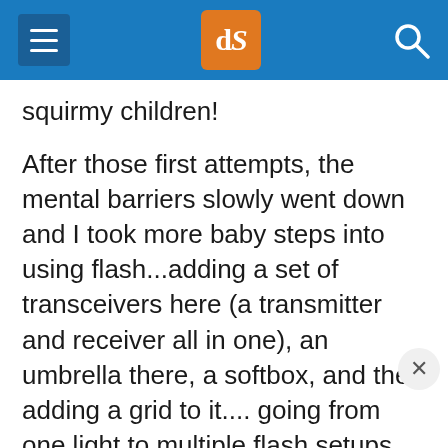[Figure (screenshot): Navigation bar with hamburger menu icon on the left, dPS logo (orange box with white 'dS' text) in the center, and search icon on the right, all on a blue background]
squirmy children!
After those first attempts, the mental barriers slowly went down and I took more baby steps into using flash...adding a set of transceivers here (a transmitter and receiver all in one), an umbrella there, a softbox, and then adding a grid to it.... going from one light to multiple flash setups.